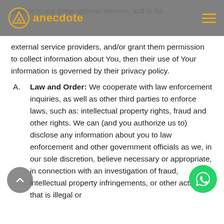anecdote [logo header with navigation]
choose to use these optional services, and in the external service providers, and/or grant them permission to collect information about You, then their use of Your information is governed by their privacy policy.
A. Law and Order: We cooperate with law enforcement inquiries, as well as other third parties to enforce laws, such as: intellectual property rights, fraud and other rights. We can (and you authorize us to) disclose any information about you to law enforcement and other government officials as we, in our sole discretion, believe necessary or appropriate, in connection with an investigation of fraud, intellectual property infringements, or other activity that is illegal or